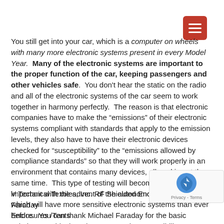[Figure (other): Red hamburger menu button in top right corner]
You still get into your car, which is a computer on wheels with many more electronic systems present in every Model Year. Many of the electronic systems are important to the proper function of the car, keeping passengers and other vehicles safe. You don't hear the static on the radio and all of the electronic systems of the car seem to work together in harmony perfectly. The reason is that electronic companies have to make the "emissions" of their electronic systems compliant with standards that apply to the emission levels, they also have to have their electronic devices checked for "susceptibility" to the "emissions allowed by compliance standards" so that they will work properly in an environment that contains many devices, all working at the same time. This type of testing will become much more important with the advent of the autonomous automobile, which will have more sensitive electronic systems than ever before. You can thank Michael Faraday for the basic solution to achieving Electromagnetic Compatibility!
V Technical Textiles, Inc. RF Shielded Enclosures and Faraday Enclosures /Tents